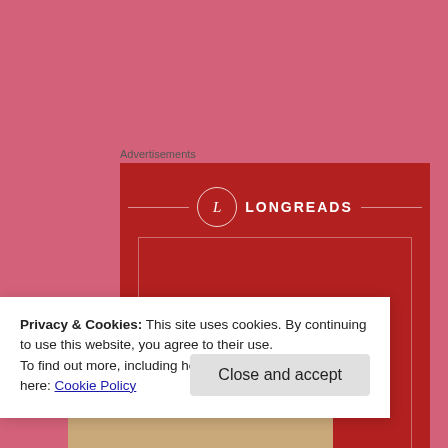Advertisements
[Figure (illustration): Longreads advertisement on red background with text 'The best stories on the web – ours, and everyone else's.']
Privacy & Cookies: This site uses cookies. By continuing to use this website, you agree to their use.
To find out more, including how to control cookies, see here: Cookie Policy
Close and accept